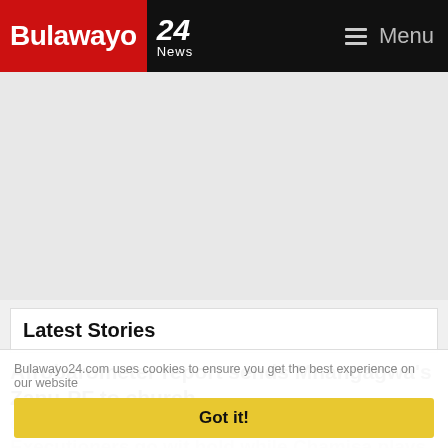Bulawayo 24 News — Menu
[Figure (other): Advertisement placeholder area (gray background)]
Latest Stories
Afrobarometer report sends Mnangagwa's Zanu-PF to church
13 mins ago | 1
Bulawayo24.com uses cookies to ensure you get the best experience on our website
Got it!